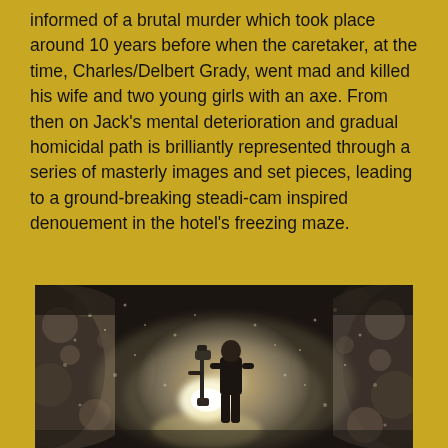informed of a brutal murder which took place around 10 years before when the caretaker, at the time, Charles/Delbert Grady, went mad and killed his wife and two young girls with an axe. From then on Jack's mental deterioration and gradual homicidal path is brilliantly represented through a series of masterly images and set pieces, leading to a ground-breaking steadi-cam inspired denouement in the hotel's freezing maze.
[Figure (photo): A person standing in a misty, dark maze corridor holding a steadicam rig with a bright light source, surrounded by swirling fog or snow.]